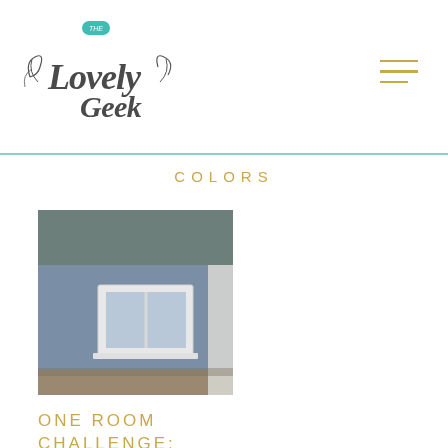The Lovely Geek
COLORS
[Figure (photo): Exterior of a house with grey-blue painted walls and a white-framed window, with trees visible in the background]
ONE ROOM CHALLENGE: WEEK 3 GETTING READY FOR